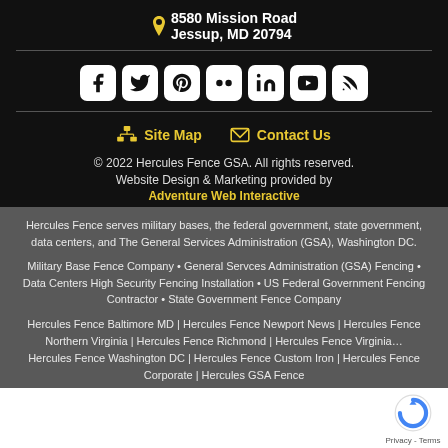8580 Mission Road
Jessup, MD 20794
[Figure (infographic): Row of social media icons: Facebook, Twitter, Pinterest, Flickr, LinkedIn, YouTube, RSS]
Site Map   Contact Us
© 2022 Hercules Fence GSA. All rights reserved.
Website Design & Marketing provided by
Adventure Web Interactive
Hercules Fence serves military bases, the federal government, state government, data centers, and The General Services Administration (GSA), Washington DC.
Military Base Fence Company • General Servces Administration (GSA) Fencing • Data Centers High Security Fencing Installation • US Federal Government Fencing Contractor • State Government Fence Company
Hercules Fence Baltimore MD | Hercules Fence Newport News | Hercules Fence Northern Virginia | Hercules Fence Richmond | Hercules Fence Virginia... Hercules Fence Washington DC | Hercules Fence Custom Iron | Hercules Fence Corporate | Hercules GSA Fence